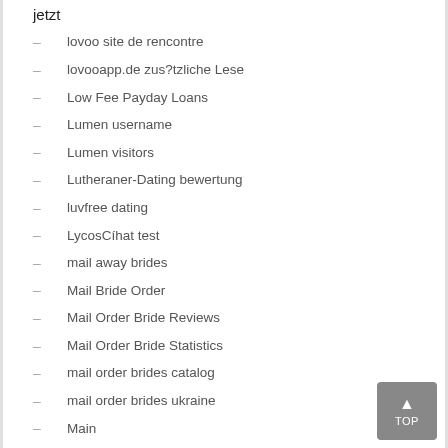jetzt
lovoo site de rencontre
lovooapp.de zus?tzliche Lese
Low Fee Payday Loans
Lumen username
Lumen visitors
Lutheraner-Dating bewertung
luvfree dating
LycosCíhat test
mail away brides
Mail Bride Order
Mail Order Bride Reviews
Mail Order Bride Statistics
mail order brides catalog
mail order brides ukraine
Main